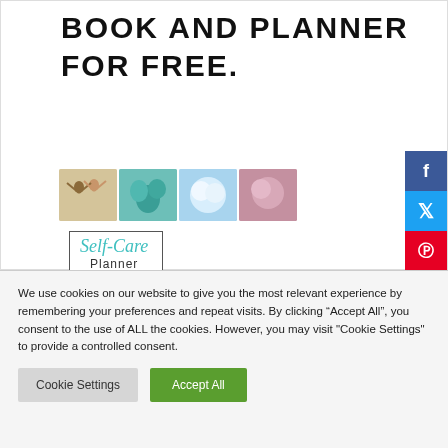BOOK AND PLANNER FOR FREE.
[Figure (photo): Collage of four small photos related to self-care, followed by a Self-Care Planner label with teal cursive text]
We use cookies on our website to give you the most relevant experience by remembering your preferences and repeat visits. By clicking “Accept All”, you consent to the use of ALL the cookies. However, you may visit "Cookie Settings" to provide a controlled consent.
Cookie Settings    Accept All